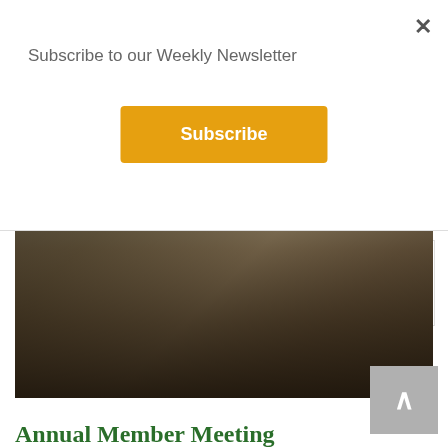Subscribe to our Weekly Newsletter
Subscribe
FREE on our Youtube channel. Check out the schedule below to…
[Figure (photo): Group of people seated around a long table in a room with windows, appearing to be at a meeting or gathering]
Annual Member Meeting